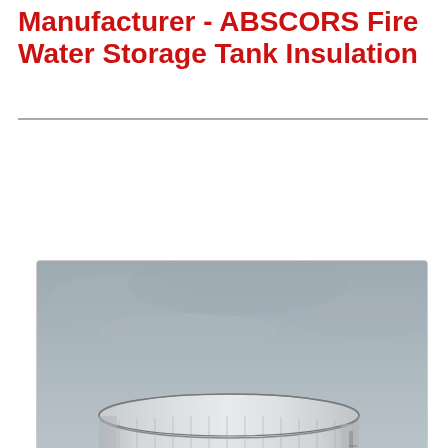Manufacturer - ABSCORS Fire Water Storage Tank Insulation
[Figure (photo): Photograph of a large cylindrical white fire water storage tank with vertical ribbing, viewed from below against an overcast grey sky. The tank has a rounded top edge and appears to be a bolted or welded steel tank with insulated cladding.]